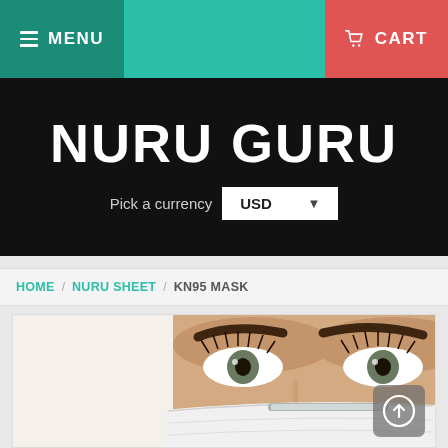≡ MENU  🛒 CART
NURU GURU
Pick a currency USD ▾
HOME / NURU SHEET / KN95 MASK
[Figure (photo): Close-up photo of a woman wearing a white KN95 face mask, showing her eyes and forehead above the mask. The image is a product photo for a KN95 mask.]